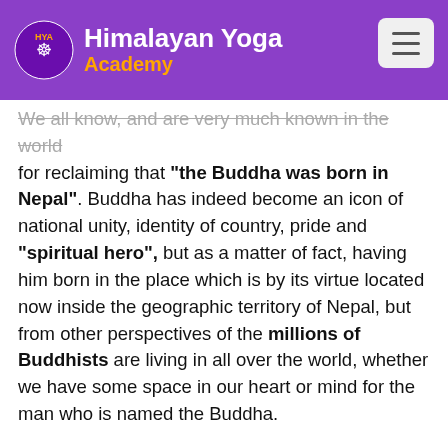Himalayan Yoga Academy
We all know, and are very much known in the world for reclaiming that "the Buddha was born in Nepal". Buddha has indeed become an icon of national unity, identity of country, pride and "spiritual hero", but as a matter of fact, having him born in the place which is by its virtue located now inside the geographic territory of Nepal, but from other perspectives of the millions of Buddhists are living in all over the world, whether we have some space in our heart or mind for the man who is named the Buddha.

While being proud of Buddha, only a few take time to learn some basic teachings of Buddhism. We need to follow the right path of Buddha as teachings and meditating. Buddha did talk only about pea...